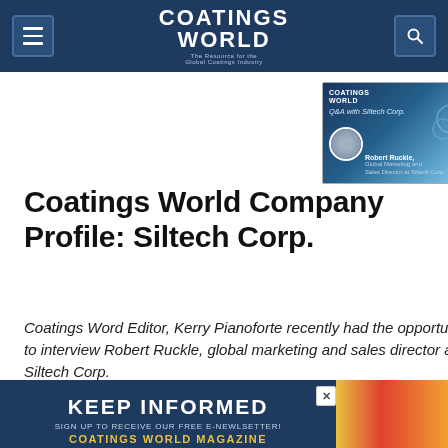Coatings World
[Figure (screenshot): Coatings World Q&A with Siltech Corp. promotional image featuring Robert Ruckle, Global Marketing and Sales Director at Siltech Corp.]
Coatings World Company Profile: Siltech Corp.
Coatings Word Editor, Kerry Pianoforte recently had the opportunity to interview Robert Ruckle, global marketing and sales director at Siltech Corp.
Kerry Pianoforte, Editor  •  04.13.21
[Figure (infographic): KEEP INFORMED - Sign up to receive our free e-newsletter! Coatings World Magazine banner advertisement]